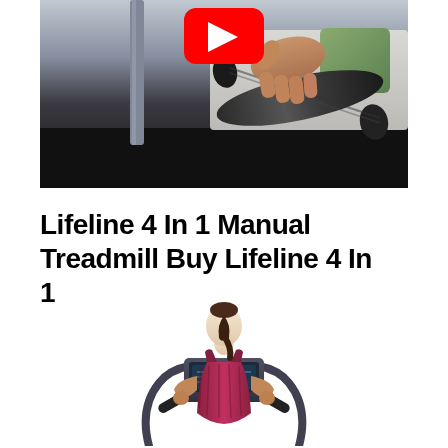[Figure (screenshot): YouTube video thumbnail showing a person's hand gripping a black handlebar of a treadmill, with a YouTube play button overlay in the upper center. The lower portion of the thumbnail is black.]
Lifeline 4 In 1 Manual Treadmill Buy Lifeline 4 In 1
[Figure (photo): Woman with ponytail wearing a striped maroon tank top, seen from behind, using a treadmill with a console/display panel visible. White background.]